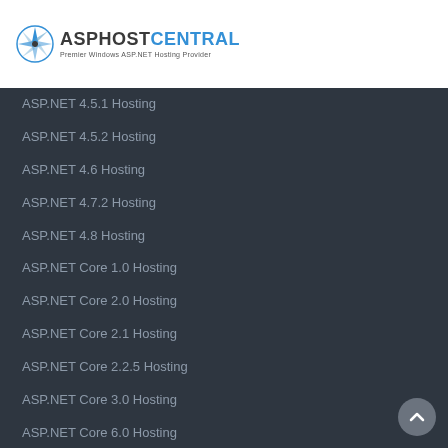[Figure (logo): ASPHostCentral logo — compass rose icon in blue and gray, text 'ASPHOSTCENTRAL' with tagline 'Premier Windows ASP.NET Hosting Provider']
ASP.NET 4.5.1 Hosting
ASP.NET 4.5.2 Hosting
ASP.NET 4.6 Hosting
ASP.NET 4.7.2 Hosting
ASP.NET 4.8 Hosting
ASP.NET Core 1.0 Hosting
ASP.NET Core 2.0 Hosting
ASP.NET Core 2.1 Hosting
ASP.NET Core 2.2.5 Hosting
ASP.NET Core 3.0 Hosting
ASP.NET Core 6.0 Hosting
ASP.NET Core 5.0.6 Hosting
ASP.NET MVC Hosting
ASP.NET MVC 2.0 Hosting
ASP.NET MVC 3.0 Hosting
ASP.NET MVC 4.0 Hosting
ASP.NET MVC 5.0 Hosting